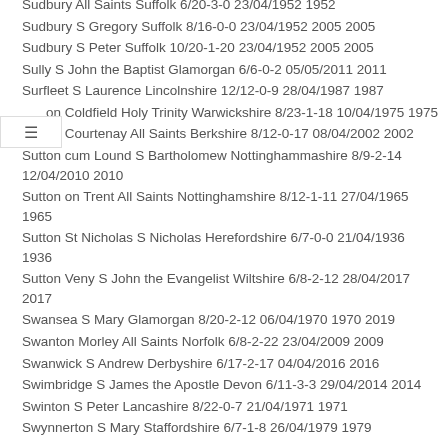Sudbury All Saints Suffolk 6/20-3-0 23/04/1952 1952
Sudbury S Gregory Suffolk 8/16-0-0 23/04/1952 2005 2005
Sudbury S Peter Suffolk 10/20-1-20 23/04/1952 2005 2005
Sully S John the Baptist Glamorgan 6/6-0-2 05/05/2011 2011
Surfleet S Laurence Lincolnshire 12/12-0-9 28/04/1987 1987
Sutton Coldfield Holy Trinity Warwickshire 8/23-1-18 10/04/1975 1975
Sutton Courtenay All Saints Berkshire 8/12-0-17 08/04/2002 2002
Sutton cum Lound S Bartholomew Nottinghamshire 8/9-2-14 12/04/2010 2010
Sutton on Trent All Saints Nottinghamshire 8/12-1-11 27/04/1965 1965
Sutton St Nicholas S Nicholas Herefordshire 6/7-0-0 21/04/1936 1936
Sutton Veny S John the Evangelist Wiltshire 6/8-2-12 28/04/2017 2017
Swansea S Mary Glamorgan 8/20-2-12 06/04/1970 1970 2019
Swanton Morley All Saints Norfolk 6/8-2-22 23/04/2009 2009
Swanwick S Andrew Derbyshire 6/17-2-17 04/04/2016 2016
Swimbridge S James the Apostle Devon 6/11-3-3 29/04/2014 2014
Swinton S Peter Lancashire 8/22-0-7 21/04/1971 1971
Swynnerton S Mary Staffordshire 6/7-1-8 26/04/1979 1979